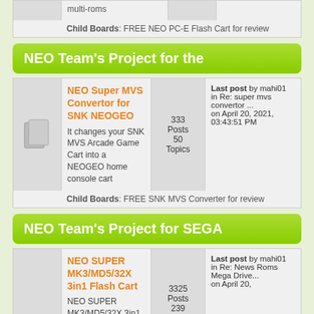multi-roms
Child Boards: FREE NEO PC-E Flash Cart for review
NEO Team's Project for the
NEO Super MVS Convertor for SNK NEOGEO
It changes your SNK MVS Arcade Game Cart into a NEOGEO home console cart
333 Posts 50 Topics
Last post by mahi01 in Re: super mvs convertor ... on April 20, 2021, 03:43:51 PM
Child Boards: FREE SNK MVS Converter for review
NEO Team's Project for SEGA
NEO SUPER MK3/MD5/32X 3in1 Flash Cart
NEO SUPER MK3/MD5/32X 3in1 Flash Cart -- ALL in one solution and it's
3325 Posts 239
Last post by mahi01 in Re: News Roms Mega Drive... on April 20,